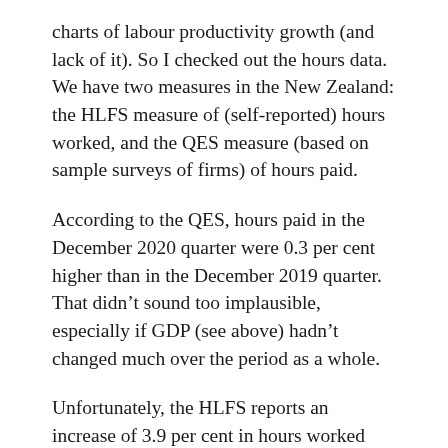charts of labour productivity growth (and lack of it). So I checked out the hours data. We have two measures in the New Zealand: the HLFS measure of (self-reported) hours worked, and the QES measure (based on sample surveys of firms) of hours paid.
According to the QES, hours paid in the December 2020 quarter were 0.3 per cent higher than in the December 2019 quarter. That didn't sound too implausible, especially if GDP (see above) hadn't changed much over the period as a whole.
Unfortunately, the HLFS reports an increase of 3.9 per cent in hours worked over the same period. And while there are always differences